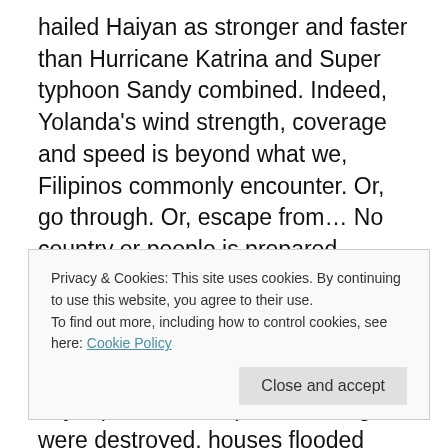hailed Haiyan as stronger and faster than Hurricane Katrina and Super typhoon Sandy combined. Indeed, Yolanda's wind strength, coverage and speed is beyond what we, Filipinos commonly encounter. Or, go through. Or, escape from… No country or people is prepared enough for a natural disaster of this magnitude and proportion.

The storm pounded Tacloban City, Leyte province's capital. Buildings were destroyed, houses flooded then eroded, and, the whole city was inundated by the storm
Privacy & Cookies: This site uses cookies. By continuing to use this website, you agree to their use.
To find out more, including how to control cookies, see here: Cookie Policy
Close and accept